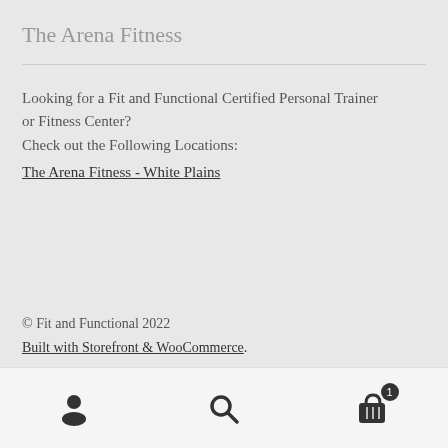The Arena Fitness
Looking for a Fit and Functional Certified Personal Trainer or Fitness Center?
Check out the Following Locations:
The Arena Fitness - White Plains
© Fit and Functional 2022
Built with Storefront & WooCommerce.